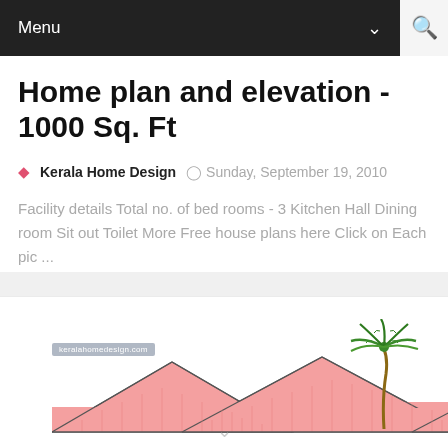Menu
Home plan and elevation - 1000 Sq. Ft
Kerala Home Design   Sunday, September 19, 2010
Facility details Total no. of bed rooms - 3 Kitchen Hall Dining room Sit out Toilet More Free house plans here Click on Each pic ...
[Figure (illustration): Partial view of a house elevation drawing showing pink/salmon colored gable roofs and a palm tree illustration on the right side, with a watermark label at top left.]